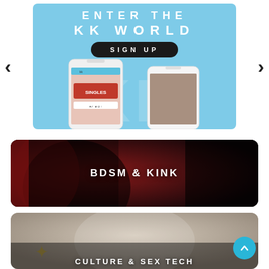[Figure (screenshot): KK World promotional banner with light blue background, 'ENTER THE KK WORLD' text, 'SIGN UP' button, two smartphone mockups showing the app, and KK watermark. Left and right carousel navigation arrows flank the banner.]
[Figure (photo): Category card for BDSM & KINK: dark, moody photo of a woman with tattoos, wearing black, with red accents. White bold text 'BDSM & KINK' centered on the image.]
[Figure (photo): Category card for CULTURE & SEX TECH: lighter photo of a woman laughing, with decorative elements. White bold text 'CULTURE & SEX TECH' on the image. Teal back-to-top button in bottom-right corner.]